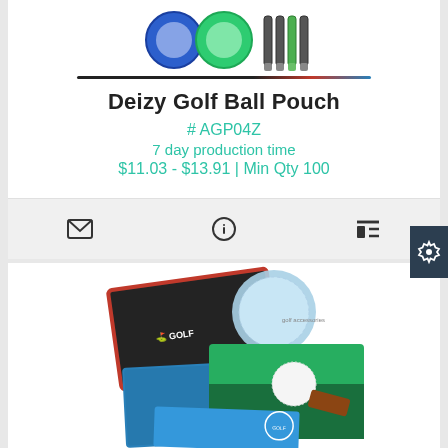[Figure (photo): Product photo of Deizy Golf Ball Pouch showing blue and green silicone rings and zipper accessories on white background]
Deizy Golf Ball Pouch
# AGP04Z
7 day production time
$11.03 - $13.91 | Min Qty 100
[Figure (screenshot): Toolbar with email/envelope icon, info icon, and list/grid icon on gray background, plus dark settings gear tab on right]
[Figure (photo): Product photos of waffle golf towels showing dark towel with GOLF logo, blue towel, and photo of golf ball on grass]
Free Shipping-Full Color Waffle Golf